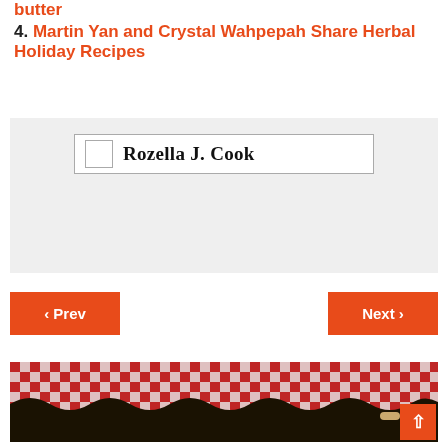butter
4. Martin Yan and Crystal Wahpepah Share Herbal Holiday Recipes
[Figure (other): Author box with avatar placeholder and name 'Rozella J. Cook' on a light gray background with a bordered inner box]
< Prev
Next >
[Figure (photo): Photo showing a red and white gingham/checkered fabric cloth on a dark black surface, with a wooden rolling pin visible at the right edge. An orange scroll-to-top button is in the lower right corner.]